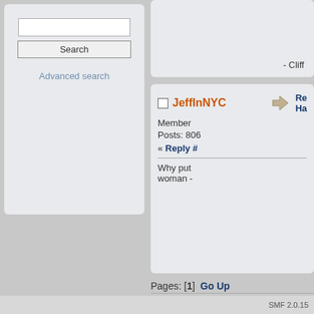- Cliff
JeffInNYC
Member
Posts: 806
Re: Ha... « Reply #...
Why put... woman -
Pages: [1]   Go Up
POZ Community Forums » Off Topic Forums » Off
SMF 2.0.15